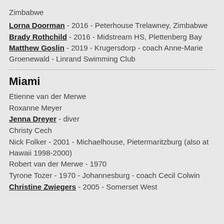Zimbabwe
Lorna Doorman - 2016 - Peterhouse Trelawney, Zimbabwe
Brady Rothchild - 2016 - Midstream HS, Plettenberg Bay
Matthew Goslin - 2019 - Krugersdorp - coach Anne-Marie Groenewald - Linrand Swimming Club
Miami
Etienne van der Merwe
Roxanne Meyer
Jenna Dreyer - diver
Christy Cech
Nick Folker - 2001 - Michaelhouse, Pietermaritzburg (also at Hawaii 1998-2000)
Robert van der Merwe - 1970
Tyrone Tozer - 1970 - Johannesburg - coach Cecil Colwin
Christine Zwiegers - 2005 - Somerset West